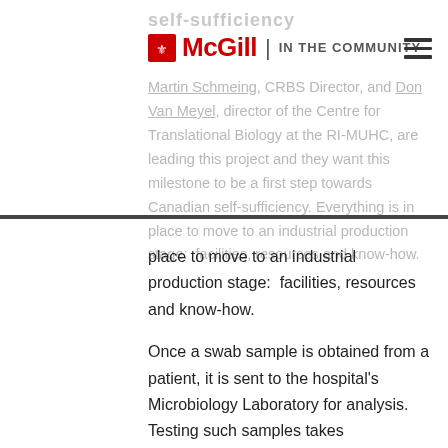self-sufficiency
McGill | IN THE COMMUNITY
Martin Schmeing, CRBS Director, and Don Van Meyel, director of the Centre for Translational Biology at the RI-MUHC, are leading this project and they want this milestone to be a first step towards Canadian self-sufficiency. Everything is in place to move to an industrial production stage:  facilities, resources and know-how.
Once a swab sample is obtained from a patient, it is sent to the hospital’s Microbiology Laboratory for analysis. Testing such samples takes sophisticated instruments, expert laboratory technologists and testing kits made up of complex mixtures of reagents.